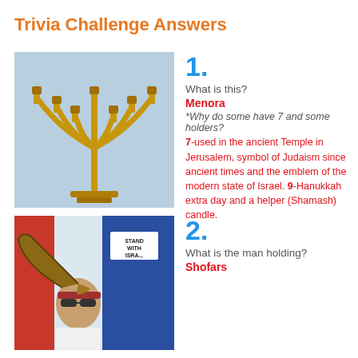Trivia Challenge Answers
[Figure (photo): A golden menorah (7-branched candelabrum) against a light blue background]
1.
What is this?
Menora
*Why do some have 7 and some holders?
7-used in the ancient Temple in Jerusalem, symbol of Judaism since ancient times and the emblem of the modern state of Israel. 9-Hanukkah extra day and a helper (Shamash) candle.
[Figure (photo): A man holding shofars at a public rally with flags and signs in the background]
2.
What is the man holding?
Shofars